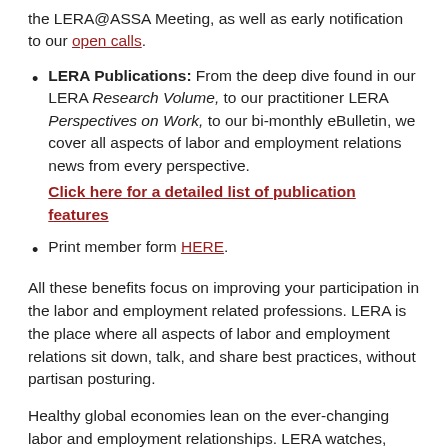the LERA@ASSA Meeting, as well as early notification to our open calls.
LERA Publications: From the deep dive found in our LERA Research Volume, to our practitioner LERA Perspectives on Work, to our bi-monthly eBulletin, we cover all aspects of labor and employment relations news from every perspective.
Click here for a detailed list of publication features
Print member form HERE.
All these benefits focus on improving your participation in the labor and employment related professions. LERA is the place where all aspects of labor and employment relations sit down, talk, and share best practices, without partisan posturing.
Healthy global economies lean on the ever-changing labor and employment relationships. LERA watches, connects, and delivers what you need, when you need it. Review the detailed